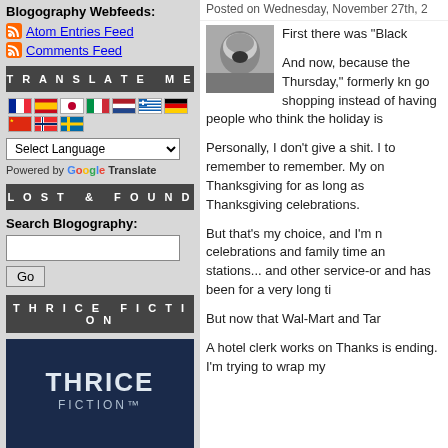Blogography Webfeeds:
Atom Entries Feed
Comments Feed
TRANSLATE ME
LOST & FOUND
Search Blogography:
THRICE FICTION
[Figure (illustration): Thrice Fiction book cover — dark navy background with white text reading THRICE FICTION, small illustrated figure at bottom]
Posted on Wednesday, November 27th, 2
First there was "Black
And now, because the Thursday," formerly kn go shopping instead of having people who think the holiday is
Personally, I don't give a shit. I to remember to remember. My on Thanksgiving for as long as Thanksgiving celebrations.
But that's my choice, and I'm n celebrations and family time an stations... and other service-or and has been for a very long ti
But now that Wal-Mart and Tar
A hotel clerk works on Thanks is ending. I'm trying to wrap my